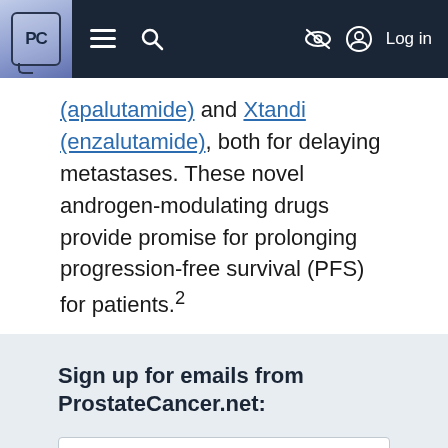PC [logo] — navigation bar with menu, search, and Log in
(apalutamide) and Xtandi (enzalutamide), both for delaying metastases. These novel androgen-modulating drugs provide promise for prolonging progression-free survival (PFS) for patients.²
Sign up for emails from ProstateCancer.net: [email input] [Subscribe button]